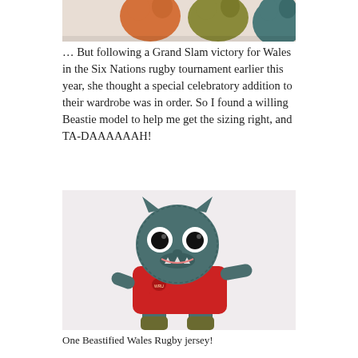[Figure (photo): Partial top image showing colorful knitted beastie toys — orange, olive, and teal colored yarn figures cropped at the top]
… But following a Grand Slam victory for Wales in the Six Nations rugby tournament earlier this year, she thought a special celebratory addition to their wardrobe was in order. So I found a willing Beastie model to help me get the sizing right, and TA-DAAAAAAH!
[Figure (photo): A teal knitted cat-like Beastie toy wearing a red Wales Rugby jersey with white collar, standing upright against a light pink/white background]
One Beastified Wales Rugby jersey!